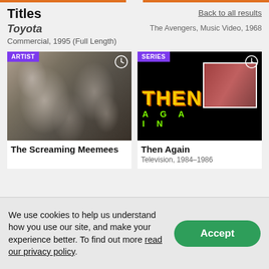Titles
Back to all results
Toyota
The Avengers, Music Video, 1968
Commercial, 1995 (Full Length)
[Figure (photo): Black and white group photo of The Screaming Meemees band members with ARTIST badge and clock icon]
[Figure (photo): Then Again TV series thumbnail with bold yellow THEN text and green AGAIN text on black background with group photo, SERIES badge and clock icon]
The Screaming Meemees
Then Again
Television, 1984–1986
We use cookies to help us understand how you use our site, and make your experience better. To find out more read our privacy policy.